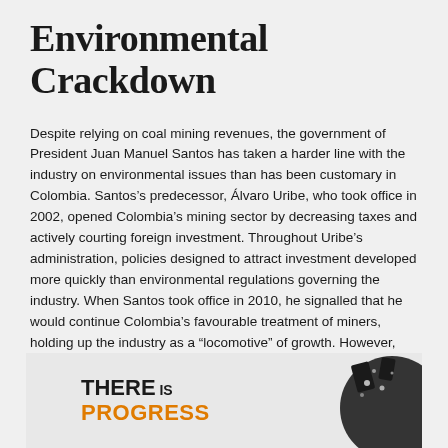Environmental Crackdown
Despite relying on coal mining revenues, the government of President Juan Manuel Santos has taken a harder line with the industry on environmental issues than has been customary in Colombia. Santos’s predecessor, Álvaro Uribe, who took office in 2002, opened Colombia’s mining sector by decreasing taxes and actively courting foreign investment. Throughout Uribe’s administration, policies designed to attract investment developed more quickly than environmental regulations governing the industry. When Santos took office in 2010, he signalled that he would continue Colombia’s favourable treatment of miners, holding up the industry as a “locomotive” of growth. However, beginning in 2013, his government’s stance toward mining began to change.
[Figure (photo): Partial image at bottom of page showing text 'THERE is PROGRESS' in black and orange on left, and a dark circular graphic on the right against a light grey background.]